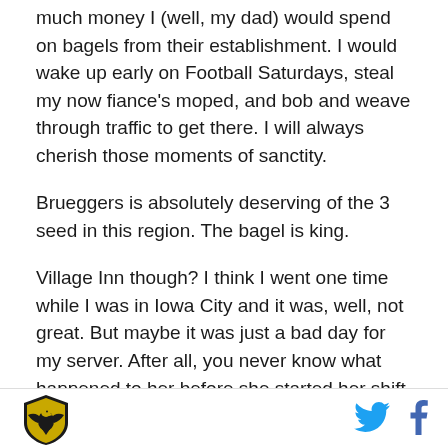much money I (well, my dad) would spend on bagels from their establishment. I would wake up early on Football Saturdays, steal my now fiance's moped, and bob and weave through traffic to get there. I will always cherish those moments of sanctity.
Brueggers is absolutely deserving of the 3 seed in this region. The bagel is king.
Village Inn though? I think I went one time while I was in Iowa City and it was, well, not great. But maybe it was just a bad day for my server. After all, you never know what happened to her before she started her shift. Maybe she wasn't able to stop at Brueggers for an Everything Bagel with cream cheese and a Naked
[Figure (logo): Website logo — shield/crest with eagle emblem in gold and black]
[Figure (logo): Twitter bird icon in blue]
[Figure (logo): Facebook f icon in dark blue]